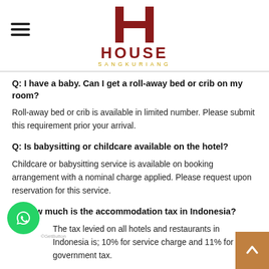[Figure (logo): House Sangkuriang hotel logo with large red H and text HOUSE SANGKURIANG]
Q: I have a baby. Can I get a roll-away bed or crib on my room?
Roll-away bed or crib is available in limited number. Please submit this requirement prior your arrival.
Q: Is babysitting or childcare available on the hotel?
Childcare or babysitting service is available on booking arrangement with a nominal charge applied. Please request upon reservation for this service.
Q: How much is the accommodation tax in Indonesia?
The tax levied on all hotels and restaurants in Indonesia is; 10% for service charge and 11% for the government tax.